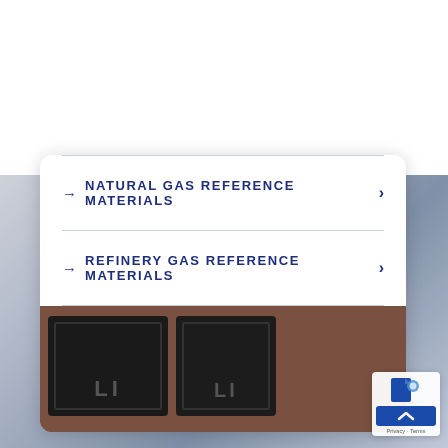→ NATURAL GAS REFERENCE MATERIALS
→ REFINERY GAS REFERENCE MATERIALS
[Figure (photo): Two dark metallic or rubber-molded components shown open, viewed from above, on a textured brown surface. The components appear to be sample containers or cylinder valve caps with embossed markings.]